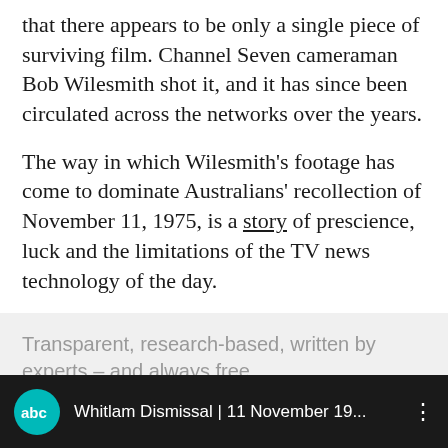that there appears to be only a single piece of surviving film. Channel Seven cameraman Bob Wilesmith shot it, and it has since been circulated across the networks over the years.
The way in which Wilesmith's footage has come to dominate Australians' recollection of November 11, 1975, is a story of prescience, luck and the limitations of the TV news technology of the day.
Transparent, research-based, written by experts – and always free.
About us
[Figure (screenshot): Video bar showing ABC logo (teal circle with 'abc' letters) and text 'Whitlam Dismissal | 11 November 19...' with a vertical dots menu icon on dark background]